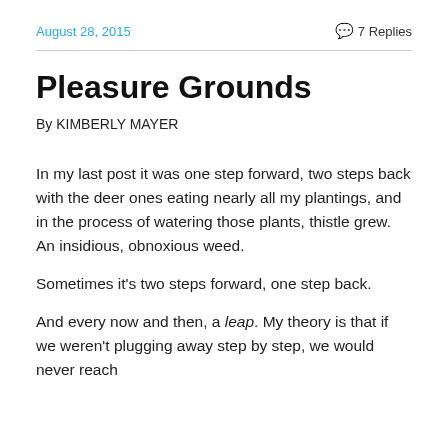August 28, 2015   💬 7 Replies
Pleasure Grounds
By KIMBERLY MAYER
In my last post it was one step forward, two steps back with the deer ones eating nearly all my plantings, and in the process of watering those plants, thistle grew. An insidious, obnoxious weed.
Sometimes it's two steps forward, one step back.
And every now and then, a leap. My theory is that if we weren't plugging away step by step, we would never reach